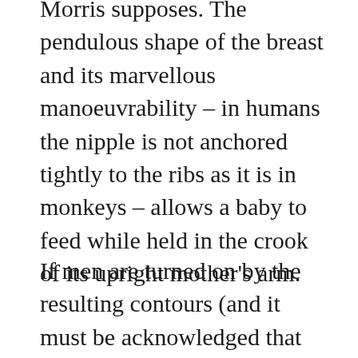Morris supposes. The pendulous shape of the breast and its marvellous manoeuvrability – in humans the nipple is not anchored tightly to the ribs as it is in monkeys – allows a baby to feed while held in the crook of its upright mother's arm.
If men are turned on by the resulting contours (and it must be acknowledged that across cultures